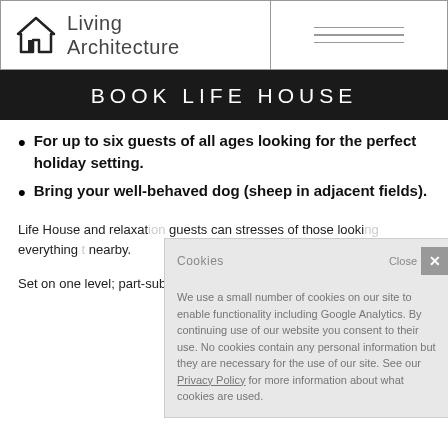Living Architecture
BOOK LIFE HOUSE
For up to six guests of all ages looking for the perfect holiday setting.
Bring your well-behaved dog (sheep in adjacent fields).
Life House and relaxation guests can stresses of those looking everything nearby.
Set on one level; part-subsumed by the hillside, this large
Cookies — We use a small number of cookies on our site to enable functionality including Google Analytics. By continuing use of our website you consent to their use. No cookies contain any personal information but they are necessary for the use of our site. See our Privacy Policy for more information about what cookies are used.